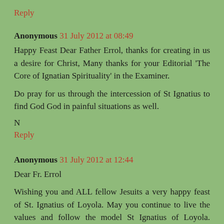Reply
Anonymous 31 July 2012 at 08:49
Happy Feast Dear Father Errol, thanks for creating in us a desire for Christ, Many thanks for your Editorial 'The Core of Ignatian Spirituality' in the Examiner.
Do pray for us through the intercession of St Ignatius to find God God in painful situations as well.
N
Reply
Anonymous 31 July 2012 at 12:44
Dear Fr. Errol
Wishing you and ALL fellow Jesuits a very happy feast of St. Ignatius of Loyola. May you continue to live the values and follow the model St Ignatius of Loyola. Priest, bishop, or missionary